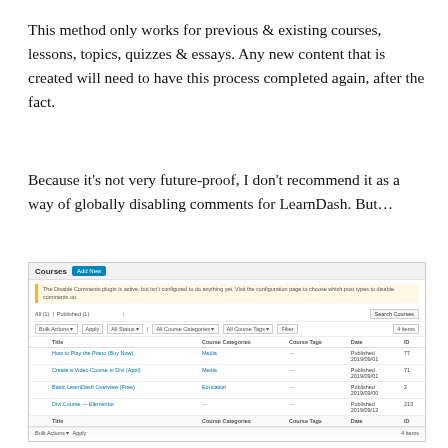This method only works for previous & existing courses, lessons, topics, quizzes & essays. Any new content that is created will need to have this process completed again, after the fact.
Because it's not very future-proof, I don't recommend it as a way of globally disabling comments for LearnDash. But...
[Figure (screenshot): WordPress admin Courses list page screenshot showing a table of courses with columns Title, Course Categories, Course Tags, Date, and ID. Courses listed include 'How to Play the Piano (Buy Now)', 'Create a Video Course in Divi (April)', 'Basic LearnDash Overview (Free)', 'Divi Course — Elementor'. A notice bar at top reads about the Disable Comments plugin being active but not configured. A Search Courses button is in the toolbar.]